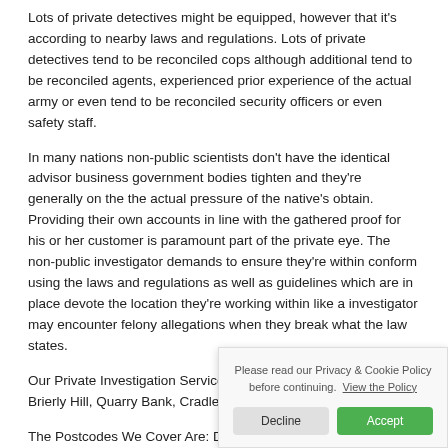Lots of private detectives might be equipped, however that it's according to nearby laws and regulations. Lots of private detectives tend to be reconciled cops although additional tend to be reconciled agents, experienced prior experience of the actual army or even tend to be reconciled security officers or even safety staff.
In many nations non-public scientists don't have the identical advisor business government bodies tighten and they're generally on the the actual pressure of the native's obtain. Providing their own accounts in line with the gathered proof for his or her customer is paramount part of the private eye. The non-public investigator demands to ensure they're within conform using the laws and regulations as well as guidelines which are in place devote the location they're working within like a investigator may encounter felony allegations when they break what the law states.
Our Private Investigation Services Cover: Kinver, Stourton, Brierly Hill, Quarry Bank, Cradley Heath, Hagley.
The Postcodes We Cover Are: DY8 1.
Visit our us on Google Map.
Private Investigators | About us | Privacy and Cookie Policy | Terms of Use | Terms & Conditions | Contact us | Articles | ©2010-2020
Stourbridge Privat...
Private Detective